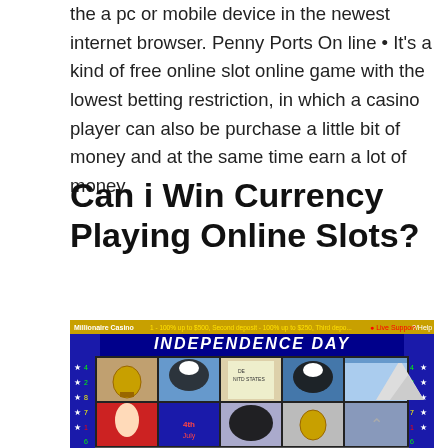the a pc or mobile device in the newest internet browser. Penny Ports On line • It's a kind of free online slot online game with the lowest betting restriction, in which a casino player can also be purchase a little bit of money and at the same time earn a lot of money.
Can i Win Currency Playing Online Slots?
[Figure (screenshot): Screenshot of Millionaire Casino online slot game showing an Independence Day themed slot machine with eagles, liberty bells, Uncle Sam, and patriotic imagery on a blue star-studded background.]